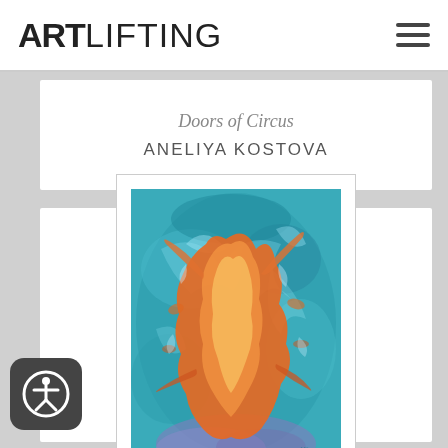ARTLIFTING
Doors of Circus
ANELIYA KOSTOVA
[Figure (illustration): Abstract painting with vibrant orange and red figure against a turquoise/teal blue background, depicting an expressive gestural human-like form with swirling textures and lavender tones at the bottom.]